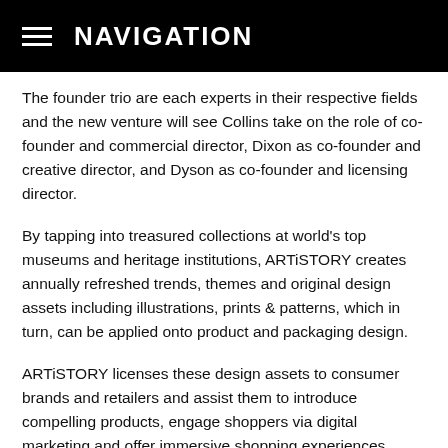NAVIGATION
The founder trio are each experts in their respective fields and the new venture will see Collins take on the role of co-founder and commercial director, Dixon as co-founder and creative director, and Dyson as co-founder and licensing director.
By tapping into treasured collections at world's top museums and heritage institutions, ARTiSTORY creates annually refreshed trends, themes and original design assets including illustrations, prints & patterns, which in turn, can be applied onto product and packaging design.
ARTiSTORY licenses these design assets to consumer brands and retailers and assist them to introduce compelling products, engage shoppers via digital marketing and offer immersive shopping experiences. Each product comes with a unique story that consumer brands and retailers can attract more shoppers by leveraging the power of storytelling.
“Storytelling is central to human existence. That it’s common to every